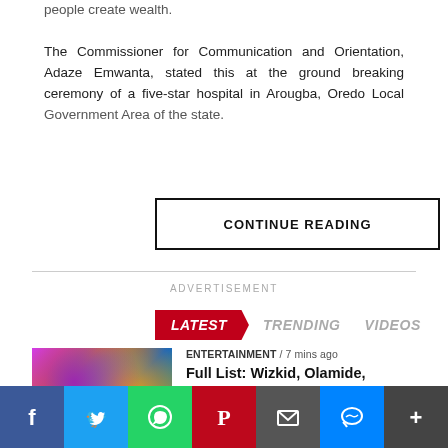people create wealth.

The Commissioner for Communication and Orientation, Adaze Emwanta, stated this at the ground breaking ceremony of a five-star hospital in Arougba, Oredo Local Government Area of the state.
CONTINUE READING
ADVERTISEMENT
LATEST  TRENDING  VIDEOS
ENTERTAINMENT / 7 mins ago
Full List: Wizkid, Olamide, Adekunle Gold, Others Win Big At Headies 2020
[Figure (photo): Thumbnail image of a music artist with colorful background]
[Figure (infographic): Social media sharing bar with Facebook, Twitter, WhatsApp, Pinterest, Email, Messenger, and Share buttons]